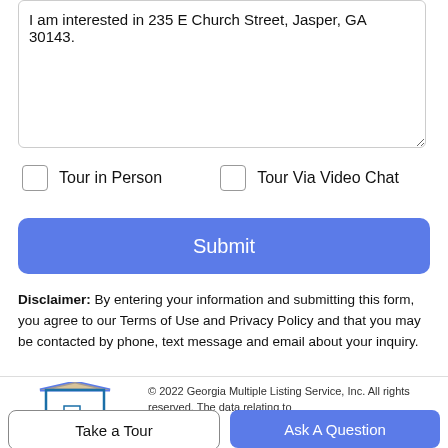I am interested in 235 E Church Street, Jasper, GA 30143.
Tour in Person
Tour Via Video Chat
Submit
Disclaimer: By entering your information and submitting this form, you agree to our Terms of Use and Privacy Policy and that you may be contacted by phone, text message and email about your inquiry.
© 2022 Georgia Multiple Listing Service, Inc. All rights reserved. The data relating to
Take a Tour
Ask A Question